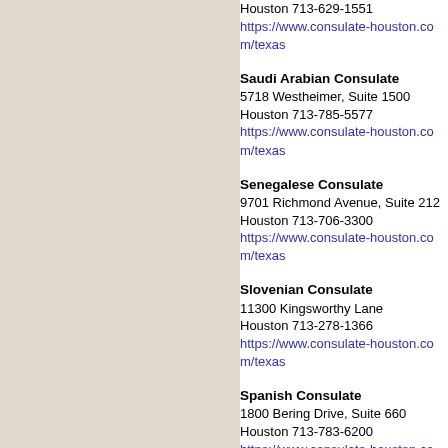Houston 713-629-1551
https://www.consulate-houston.com/texas
Saudi Arabian Consulate
5718 Westheimer, Suite 1500
Houston 713-785-5577
https://www.consulate-houston.com/texas
Senegalese Consulate
9701 Richmond Avenue, Suite 212
Houston 713-706-3300
https://www.consulate-houston.com/texas
Slovenian Consulate
11300 Kingsworthy Lane
Houston 713-278-1366
https://www.consulate-houston.com/texas
Spanish Consulate
1800 Bering Drive, Suite 660
Houston 713-783-6200
https://www.consulate-houston.com/texas
Swedish Consulate
3730 Kirby Drive, Suite 805
Houston 713-953-1417
https://www.consulate-houston.com/texas
Swiss Consulate
2000 Edwards Street, Suite 317
Houston 713-854-3758
https://www.consulate-houston.com/texas
Syrian Consulate
1022 Wirt Road, Suite 300
Houston 713-622-8860
www.consulate-houston.com/syria.html